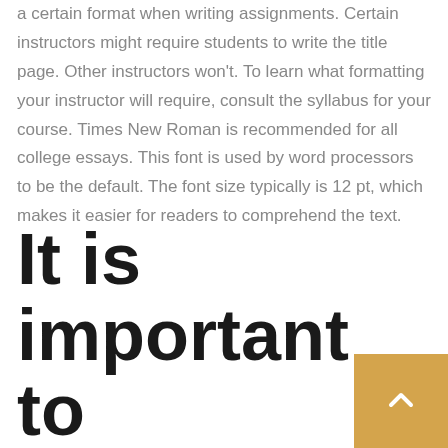a certain format when writing assignments. Certain instructors might require students to write the title page. Other instructors won't. To learn what formatting your instructor will require, consult the syllabus for your course. Times New Roman is recommended for all college essays. This font is used by word processors to be the default. The font size typically is 12 pt, which makes it easier for readers to comprehend the text.
It is important to organize your